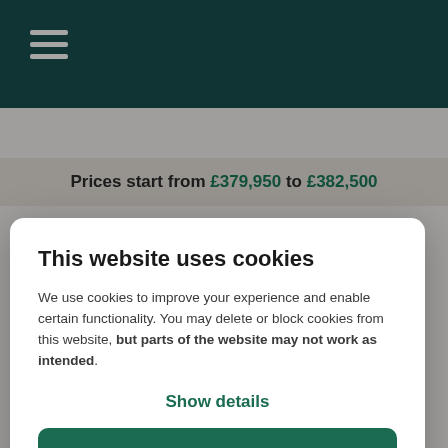Prices start from £379,950 to £382,500
This website uses cookies
We use cookies to improve your experience and enable certain functionality. You may delete or block cookies from this website, but parts of the website may not work as intended.
Show details
Allow all
01743 295 677
Show marketing suite opening times